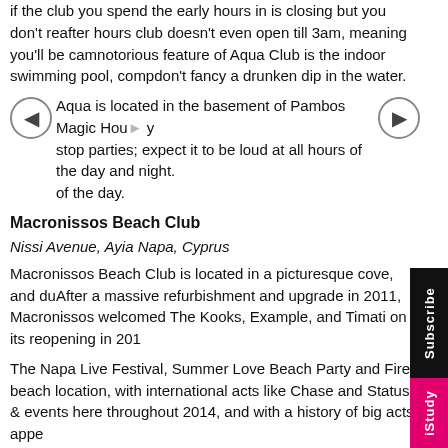if the club you spend the early hours in is closing but you don't feel ready to stop, the after hours club doesn't even open till 3am, meaning you'll be carried home. A notorious feature of Aqua Club is the indoor swimming pool, comp... don't fancy a drunken dip in the water.
Aqua is located in the basement of Pambos Magic House you... stop parties; expect it to be loud at all hours of the day and night. ... of the day.
Macronissos Beach Club
Nissi Avenue, Ayia Napa, Cyprus
Macronissos Beach Club is located in a picturesque cove, and du... After a massive refurbishment and upgrade in 2011, Macronissos ... welcomed The Kooks, Example, and Timati on its reopening in 201...
The Napa Live Festival, Summer Love Beach Party and Fire ... beach location, with international acts like Chase and Status a... events here throughout 2014, and with a history of big acts appe...
Starsky's